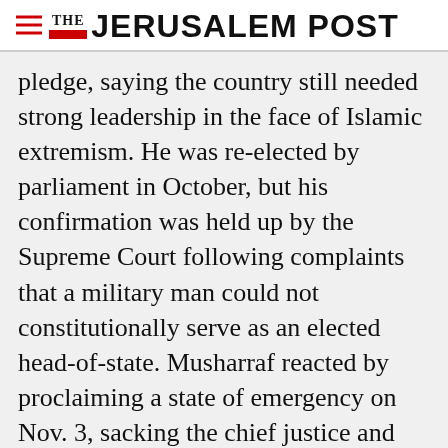THE JERUSALEM POST
pledge, saying the country still needed strong leadership in the face of Islamic extremism. He was re-elected by parliament in October, but his confirmation was held up by the Supreme Court following complaints that a military man could not constitutionally serve as an elected head-of-state. Musharraf reacted by proclaiming a state of emergency on Nov. 3, sacking the chief justice and other independent judges and replacing them with his appointees. The reconstituted top
Advertisement